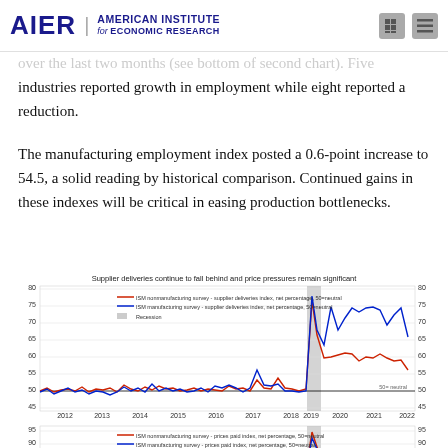AIER | AMERICAN INSTITUTE for ECONOMIC RESEARCH
industries reported growth in employment while eight reported a reduction.
The manufacturing employment index posted a 0.6-point increase to 54.5, a solid reading by historical comparison. Continued gains in these indexes will be critical in easing production bottlenecks.
[Figure (line-chart): Two-panel line chart. Top panel: ISM nonmanufacturing survey supplier deliveries index (red) and ISM manufacturing survey supplier deliveries index (blue), net percentage, 50=neutral, from 2012 to 2022. Both lines hover near 50 until 2020 recession, then spike sharply above 70-75. Bottom panel: ISM nonmanufacturing survey prices paid index (red) and ISM manufacturing survey prices paid index (blue), net percentage, 50=neutral, from 2012 to 2022, with both rising sharply after 2020.]
Supplier deliveries continue to fall behind and price pressures remain significant